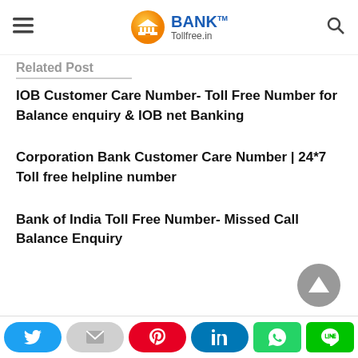BANK Tollfree.in
Related Post
IOB Customer Care Number- Toll Free Number for Balance enquiry & IOB net Banking
Corporation Bank Customer Care Number | 24*7 Toll free helpline number
Bank of India Toll Free Number- Missed Call Balance Enquiry
Share buttons: Twitter, Email, Pinterest, LinkedIn, WhatsApp, LINE